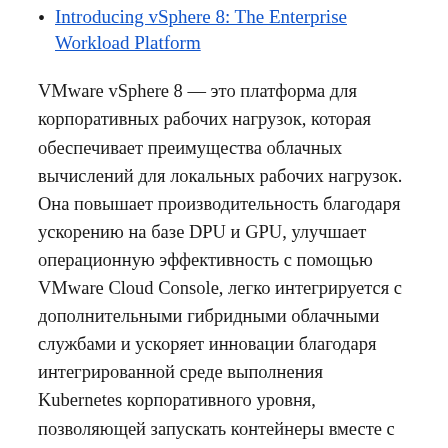Introducing vSphere 8: The Enterprise Workload Platform
VMware vSphere 8 — это платформа для корпоративных рабочих нагрузок, которая обеспечивает преимущества облачных вычислений для локальных рабочих нагрузок. Она повышает производительность благодаря ускорению на базе DPU и GPU, улучшает операционную эффективность с помощью VMware Cloud Console, легко интегрируется с дополнительными гибридными облачными службами и ускоряет инновации благодаря интегрированной среде выполнения Kubernetes корпоративного уровня, позволяющей запускать контейнеры вместе с ВМ.